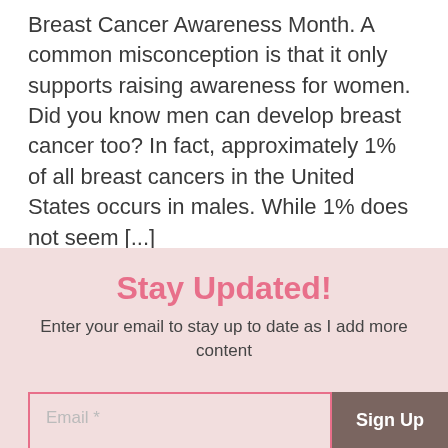Breast Cancer Awareness Month. A common misconception is that it only supports raising awareness for women. Did you know men can develop breast cancer too? In fact, approximately 1% of all breast cancers in the United States occurs in males. While 1% does not seem [...]
Stay Updated!
Enter your email to stay up to date as I add more content